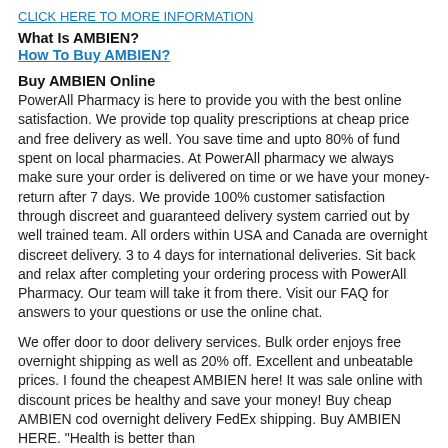CLICK HERE TO MORE INFORMATION
What Is AMBIEN?
How To Buy AMBIEN?
Buy AMBIEN Online
PowerAll Pharmacy is here to provide you with the best online satisfaction. We provide top quality prescriptions at cheap price and free delivery as well. You save time and upto 80% of fund spent on local pharmacies. At PowerAll pharmacy we always make sure your order is delivered on time or we have your money-return after 7 days. We provide 100% customer satisfaction through discreet and guaranteed delivery system carried out by well trained team. All orders within USA and Canada are overnight discreet delivery. 3 to 4 days for international deliveries. Sit back and relax after completing your ordering process with PowerAll Pharmacy. Our team will take it from there. Visit our FAQ for answers to your questions or use the online chat.
We offer door to door delivery services. Bulk order enjoys free overnight shipping as well as 20% off. Excellent and unbeatable prices. I found the cheapest AMBIEN here! It was sale online with discount prices be healthy and save your money! Buy cheap AMBIEN cod overnight delivery FedEx shipping. Buy AMBIEN HERE. "Health is better than